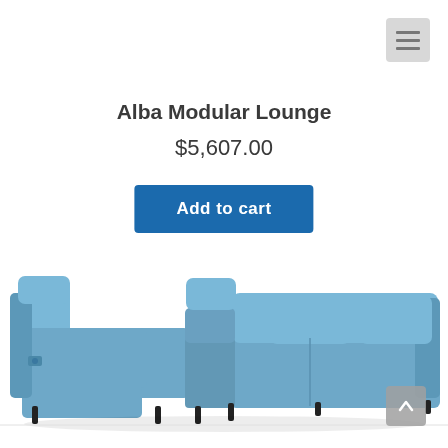[Figure (screenshot): Hamburger menu icon button in grey rounded square in top-right corner]
Alba Modular Lounge
$5,607.00
Add to cart
[Figure (photo): Blue/teal leather modular sectional sofa with recliner sections, photographed from a slightly elevated angle showing L-shape configuration with one recliner extended]